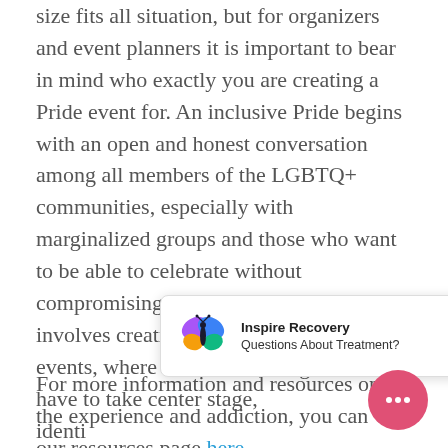size fits all situation, but for organizers and event planners it is important to bear in mind who exactly you are creating a Pride event for. An inclusive Pride begins with an open and honest conversation among all members of the LGBTQ+ communities, especially with marginalized groups and those who want to be able to celebrate without compromising their recovery goals. This involves creating more addict-friendly events, where alcohol and drugs don't have to take center stage, identi prote
[Figure (other): Inspire Recovery popup notification with butterfly logo, title 'Inspire Recovery' and subtitle 'Questions About Treatment?']
For more information and resources on the experience and addiction, you can visit our resources page here.